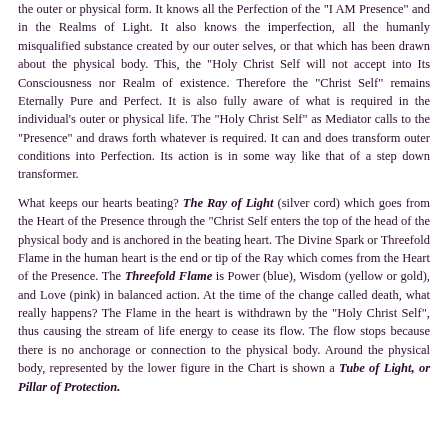the outer or physical form. It knows all the Perfection of the "I AM Presence" and in the Realms of Light. It also knows the imperfection, all the humanly misqualified substance created by our outer selves, or that which has been drawn about the physical body. This, the "Holy Christ Self will not accept into Its Consciousness nor Realm of existence. Therefore the "Christ Self" remains Eternally Pure and Perfect. It is also fully aware of what is required in the individual's outer or physical life. The "Holy Christ Self" as Mediator calls to the "Presence" and draws forth whatever is required. It can and does transform outer conditions into Perfection. Its action is in some way like that of a step down transformer.
What keeps our hearts beating? The Ray of Light (silver cord) which goes from the Heart of the Presence through the "Christ Self enters the top of the head of the physical body and is anchored in the beating heart. The Divine Spark or Threefold Flame in the human heart is the end or tip of the Ray which comes from the Heart of the Presence. The Threefold Flame is Power (blue), Wisdom (yellow or gold), and Love (pink) in balanced action. At the time of the change called death, what really happens? The Flame in the heart is withdrawn by the "Holy Christ Self", thus causing the stream of life energy to cease its flow. The flow stops because there is no anchorage or connection to the physical body. Around the physical body, represented by the lower figure in the Chart is shown a Tube of Light, or Pillar of Protection.